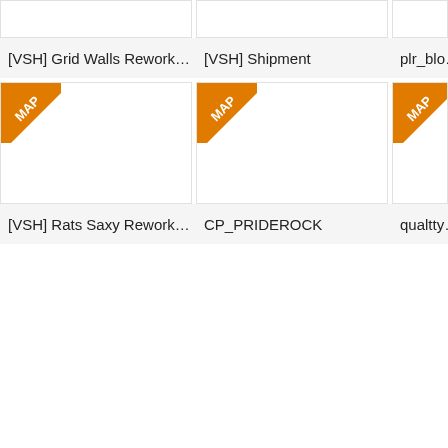[Figure (screenshot): Card grid showing map thumbnails. Row 1: [VSH] Grid Walls Rework..., [VSH] Shipment, plr_blo... (cropped). Row 2: [VSH] Rats Saxy Rework..., CP_PRIDEROCK, qualtty... (cropped). All have orange MAP corner badges on row 2 cards.]
[VSH] Grid Walls Rework...
[VSH] Shipment
plr_blo...
[VSH] Rats Saxy Rework...
CP_PRIDEROCK
qualtty...